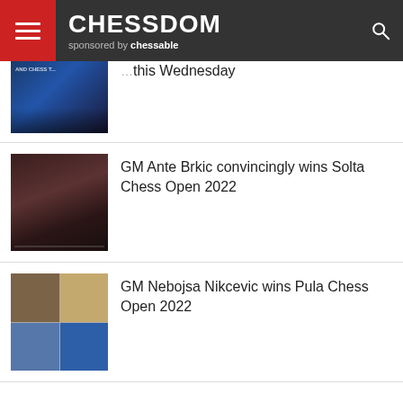CHESSDOM sponsored by chessable
this Wednesday
GM Ante Brkic convincingly wins Solta Chess Open 2022
GM Nebojsa Nikcevic wins Pula Chess Open 2022